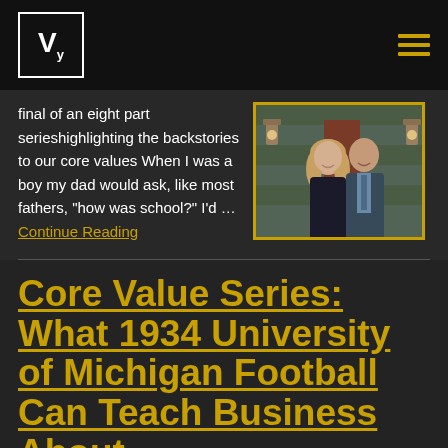Vy
final of an eight part serieshighlighting the backstories to our core values When I was a boy my dad would ask, like most fathers, "how was school?" I'd ... Continue Reading
[Figure (photo): A man and woman couple smiling, standing in front of a house exterior with wall lanterns. The woman has long blonde hair and wears a black dress; the man wears a suit with a blue shirt.]
Core Value Series: What 1934 University of Michigan Football Can Teach Business About